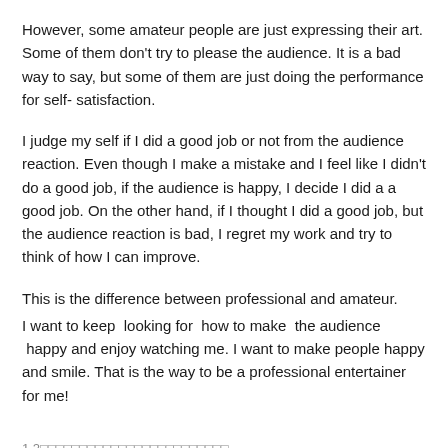However, some amateur people are just expressing their art. Some of them don't try to please the audience. It is a bad way to say, but some of them are just doing the performance for self- satisfaction.
I judge my self if I did a good job or not from the audience reaction. Even though I make a mistake and I feel like I didn't do a good job, if the audience is happy, I decide I did a a good job. On the other hand, if I thought I did a good job, but the audience reaction is bad, I regret my work and try to think of how I can improve.
This is the difference between professional and amateur.
I want to keep  looking for  how to make  the audience  happy and enjoy watching me. I want to make people happy and smile. That is the way to be a professional entertainer for me!
1 2□□□□□□□□□□□□□□□□□□□□□□□□
□□□□□□□□□□□□□□□□□□□□□□□□□□□□□□□□□□□□□□□□
□□□□□□□□□□□□□□□□□□□□□□□□□